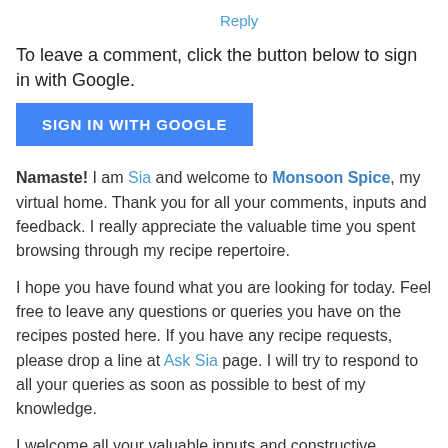Reply
To leave a comment, click the button below to sign in with Google.
[Figure (other): Blue 'SIGN IN WITH GOOGLE' button]
Namaste! I am Sia and welcome to Monsoon Spice, my virtual home. Thank you for all your comments, inputs and feedback. I really appreciate the valuable time you spent browsing through my recipe repertoire.
I hope you have found what you are looking for today. Feel free to leave any questions or queries you have on the recipes posted here. If you have any recipe requests, please drop a line at Ask Sia page. I will try to respond to all your queries as soon as possible to best of my knowledge.
I welcome all your valuable inputs and constructive criticism as long as it is meant to help